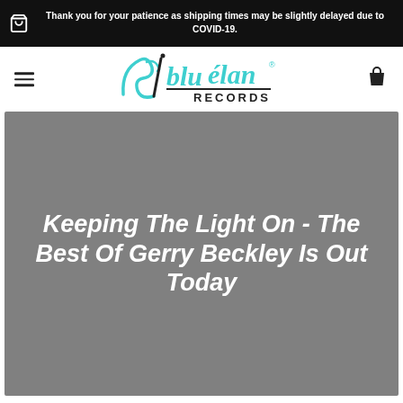Thank you for your patience as shipping times may be slightly delayed due to COVID-19.
[Figure (logo): Blu Elan Records logo with teal cursive lettering and black sans-serif RECORDS text]
Keeping The Light On - The Best Of Gerry Beckley Is Out Today